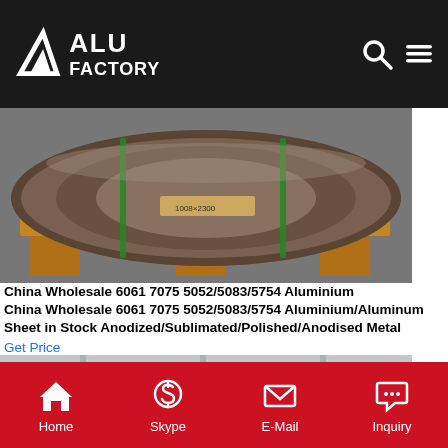ALU FACTORY
[Figure (photo): Large aluminium coil roll on wooden pallet in warehouse, wrapped with green straps]
China Wholesale 6061 7075 5052/5083/5754 Aluminium
China Wholesale 6061 7075 5052/5083/5754 Aluminium/Aluminum Sheet in Stock Anodized/Sublimated/Polished/Anodised Metal
Get Price
[Figure (photo): Aluminium sheet rolls stacked in factory warehouse with green straps, industrial interior]
Home   Skype   E-Mail   Inquiry